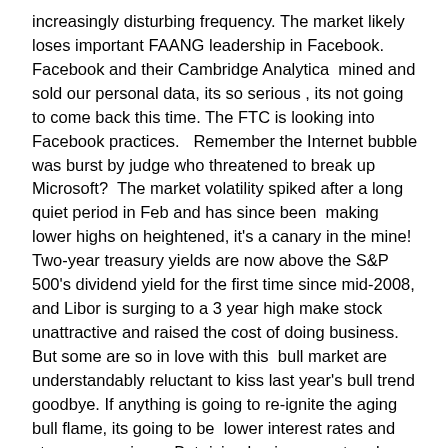increasingly disturbing frequency. The market likely loses important FAANG leadership in Facebook. Facebook and their Cambridge Analytica  mined and sold our personal data, its so serious , its not going to come back this time. The FTC is looking into Facebook practices.   Remember the Internet bubble was burst by judge who threatened to break up Microsoft?  The market volatility spiked after a long quiet period in Feb and has since been  making lower highs on heightened, it's a canary in the mine! Two-year treasury yields are now above the S&P 500's dividend yield for the first time since mid-2008, and Libor is surging to a 3 year high make stock unattractive and raised the cost of doing business.
But some are so in love with this  bull market are understandably reluctant to kiss last year's bull trend goodbye. If anything is going to re-ignite the aging bull flame, its going to be  lower interest rates and stronger earnings.  But rising business cost and inflation will crimp corporate profits. Meanwhile, a full-blown trade war will almost guarantee lower profits across much of the markets.
With inflation and interest rates on the rise , it looks highly unlikely that rates will fall in the near term under any scenario outside a recession and  a recession will prove detrimental for equities.